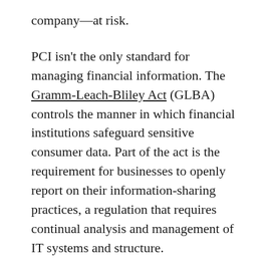company—at risk.
PCI isn't the only standard for managing financial information. The Gramm-Leach-Bliley Act (GLBA) controls the manner in which financial institutions safeguard sensitive consumer data. Part of the act is the requirement for businesses to openly report on their information-sharing practices, a regulation that requires continual analysis and management of IT systems and structure.
Radius Executive IT Solutions provides IT governance consulting to mitigate any risks to your business and your customers. By implementing a thorough review of your payment structures and storage methods, our experts help create a strategy of compliance so